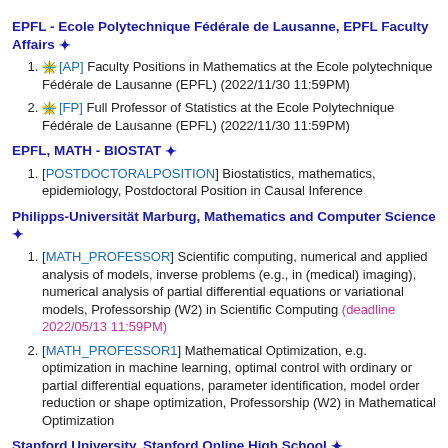EPFL - Ecole Polytechnique Fédérale de Lausanne, EPFL Faculty Affairs ❄
[AP] Faculty Positions in Mathematics at the Ecole polytechnique Fédérale de Lausanne (EPFL) (2022/11/30 11:59PM)
[FP] Full Professor of Statistics at the Ecole Polytechnique Fédérale de Lausanne (EPFL) (2022/11/30 11:59PM)
EPFL, MATH - BIOSTAT ❄
[POSTDOCTORALPOSITION] Biostatistics, mathematics, epidemiology, Postdoctoral Position in Causal Inference
Philipps-Universität Marburg, Mathematics and Computer Science ❄
[MATH_PROFESSOR] Scientific computing, numerical and applied analysis of models, inverse problems (e.g., in (medical) imaging), numerical analysis of partial differential equations or variational models, Professorship (W2) in Scientific Computing (deadline 2022/05/13 11:59PM)
[MATH_PROFESSOR1] Mathematical Optimization, e.g. optimization in machine learning, optimal control with ordinary or partial differential equations, parameter identification, model order reduction or shape optimization, Professorship (W2) in Mathematical Optimization
Stanford University, Stanford Online High School ❄